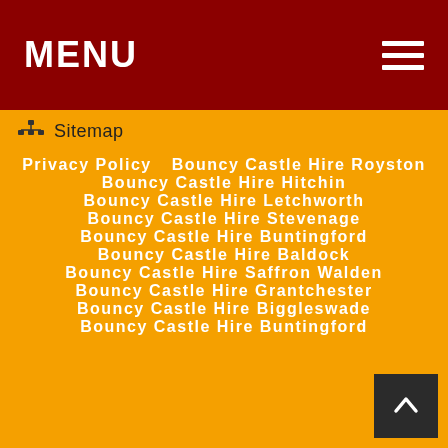MENU
Sitemap
Privacy Policy
Bouncy Castle Hire Royston
Bouncy Castle Hire Hitchin
Bouncy Castle Hire Letchworth
Bouncy Castle Hire Stevenage
Bouncy Castle Hire Buntingford
Bouncy Castle Hire Baldock
Bouncy Castle Hire Saffron Walden
Bouncy Castle Hire Grantchester
Bouncy Castle Hire Biggleswade
Bouncy Castle Hire Buntingford